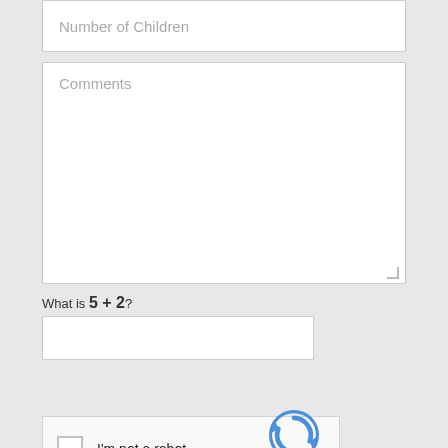Number of Children
Comments
What is 5 + 2?
[Figure (other): reCAPTCHA widget with checkbox labeled 'I'm not a robot' and reCAPTCHA logo with Privacy and Terms links]
SUBMIT